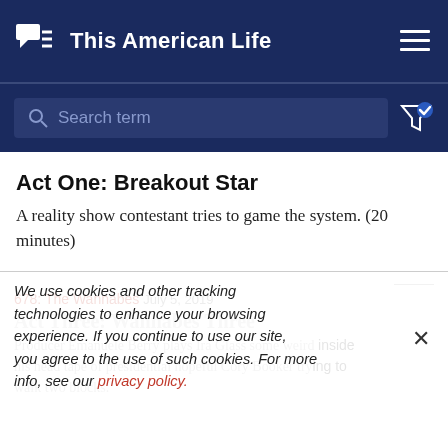This American Life
Search term
Act One: Breakout Star
A reality show contestant tries to game the system. (20 minutes)
678: The Wannabes   July 5, 2019
Act Three: Wannabes Three
Producer Emanuele Berry plays Ira Glass some weird inside his head tape of presidential hopeful Cory Booker trying to walk two blocks.
We use cookies and other tracking technologies to enhance your browsing experience. If you continue to use our site, you agree to the use of such cookies. For more info, see our privacy policy.